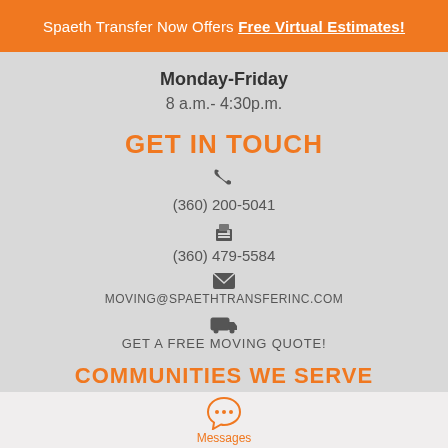Spaeth Transfer Now Offers Free Virtual Estimates!
Monday-Friday
8 a.m.- 4:30p.m.
GET IN TOUCH
(360) 200-5041
(360) 479-5584
MOVING@SPAETHTRANSFERINC.COM
GET A FREE MOVING QUOTE!
COMMUNITIES WE SERVE
[Figure (illustration): Chat/messages icon with speech bubble]
Messages